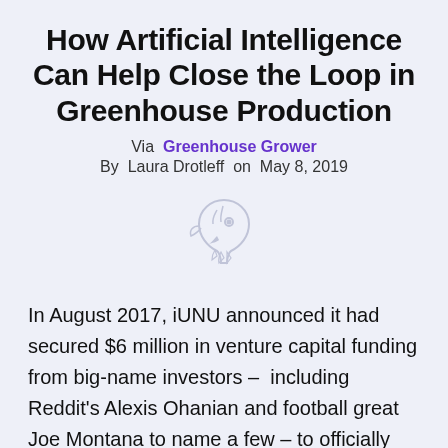How Artificial Intelligence Can Help Close the Loop in Greenhouse Production
Via  Greenhouse Grower
By  Laura Drotleff  on  May 8, 2019
[Figure (logo): A light grey stylized bird/eagle head logo mark]
In August 2017, iUNU announced it had secured $6 million in venture capital funding from big-name investors –  including Reddit's Alexis Ohanian and football great Joe Montana to name a few – to officially